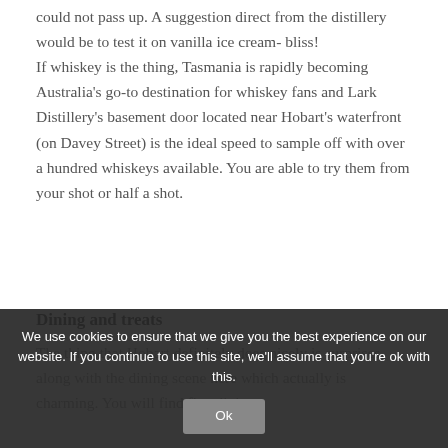could not pass up. A suggestion direct from the distillery would be to test it on vanilla ice cream- bliss!
If whiskey is the thing, Tasmania is rapidly becoming Australia's go-to destination for whiskey fans and Lark Distillery's basement door located near Hobart's waterfront (on Davey Street) is the ideal speed to sample off with over a hundred whiskeys available. You are able to try them from your shot or half a shot.
Dining and treats
The thing that Hobart definitely does nicely is surprises, along with the dining scene here which actually is charming. You will find fine dining
We use cookies to ensure that we give you the best experience on our website. If you continue to use this site, we'll assume that you're ok with this.